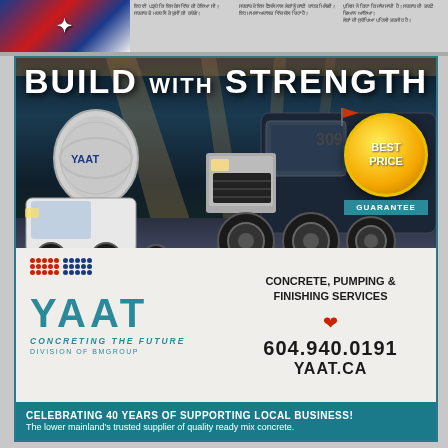[Figure (photo): Newspaper page header strip with flag/logo image on left and small text columns in Hindi/Punjabi on the right]
[Figure (illustration): Full-page advertisement for YAAT concrete company featuring cement mixer truck and large black truck under a bridge with 'BUILD WITH STRENGTH' headline, Best Price Guarantee badge, YAAT logo, and contact information]
BUILD WITH STRENGTH
BEST PRICE GUARANTEE
CONCRETE, PUMPING & FINISHING SERVICES
604.940.0191
YAAT.CA
YAAT
CONCRETING THE FUTURE
DIVISION OF BMGROUP
CELEBRATING 40 YEARS OF SUPPORTING LOCAL BUSINESS!
The lower mainland's trusted supplier of quality ready mix concrete.